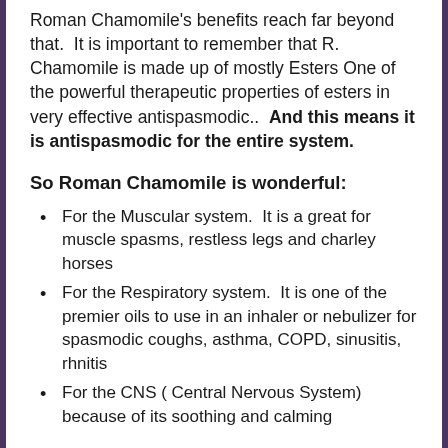Roman Chamomile's benefits reach far beyond that.  It is important to remember that R. Chamomile is made up of mostly Esters One of the powerful therapeutic properties of esters in very effective antispasmodic..  And this means it is antispasmodic for the entire system.
So Roman Chamomile is wonderful:
For the Muscular system.  It is a great for muscle spasms, restless legs and charley horses
For the Respiratory system.  It is one of the premier oils to use in an inhaler or nebulizer for spasmodic coughs, asthma, COPD, sinusitis, rhnitis
For the CNS ( Central Nervous System) because of its soothing and calming